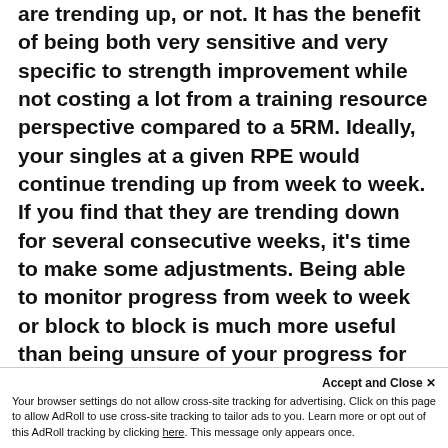are trending up, or not. It has the benefit of being both very sensitive and very specific to strength improvement while not costing a lot from a training resource perspective compared to a 5RM. Ideally, your singles at a given RPE would continue trending up from week to week. If you find that they are trending down for several consecutive weeks, it's time to make some adjustments. Being able to monitor progress from week to week or block to block is much more useful than being unsure of your progress for an entire training cycle because you don't practice circa-max singles. Some programs prescribe AMRAP sets (as many reps as
Accept and Close ✕
Your browser settings do not allow cross-site tracking for advertising. Click on this page to allow AdRoll to use cross-site tracking to tailor ads to you. Learn more or opt out of this AdRoll tracking by clicking here. This message only appears once.